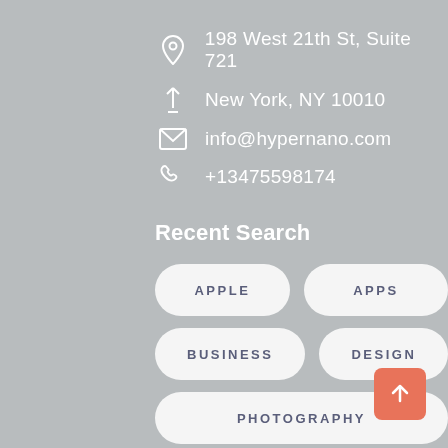198 West 21th St, Suite 721
New York, NY 10010
info@hypernano.com
+13475598174
Recent Search
APPLE
APPS
BUSINESS
DESIGN
PHOTOGRAPHY